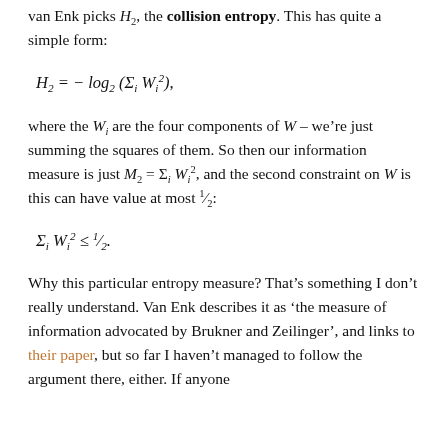van Enk picks H₂, the collision entropy. This has quite a simple form:
where the Wᵢ are the four components of W – we're just summing the squares of them. So then our information measure is just M₂ = Σᵢ Wᵢ², and the second constraint on W is this can have value at most ½:
Why this particular entropy measure? That's something I don't really understand. Van Enk describes it as 'the measure of information advocated by Brukner and Zeilinger', and links to their paper, but so far I haven't managed to follow the argument there, either. If anyone